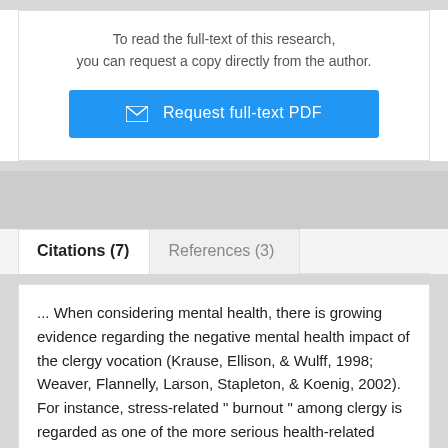To read the full-text of this research, you can request a copy directly from the author.
[Figure (screenshot): Blue button labeled 'Request full-text PDF' with envelope icon]
Citations (7)
References (3)
... When considering mental health, there is growing evidence regarding the negative mental health impact of the clergy vocation (Krause, Ellison, & Wulff, 1998; Weaver, Flannelly, Larson, Stapleton, & Koenig, 2002). For instance, stress-related " burnout " among clergy is regarded as one of the more serious health-related problems facing ERGs (Chandler, 2010; Doolittle, 2010;